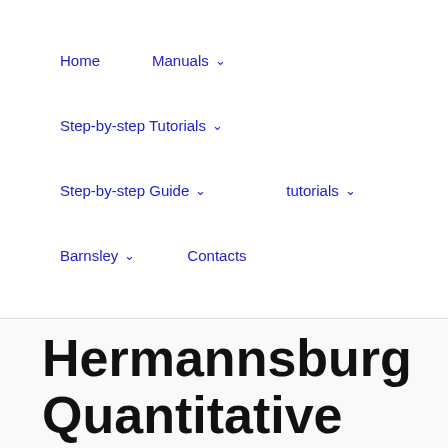Home | Manuals ∨ | Step-by-step Tutorials ∨ | Step-by-step Guide ∨ | tutorials ∨ | Barnsley ∨ | Contacts
Hermannsburg Quantitative